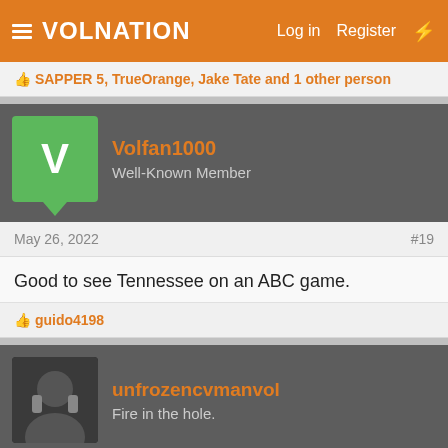VolNation — Log in  Register
👍 SAPPER 5, TrueOrange, Jake Tate and 1 other person
Volfan1000
Well-Known Member
May 26, 2022  #19
Good to see Tennessee on an ABC game.
👍 guido4198
unfrozencvmanvol
Fire in the hole.
May 27, 2022  #20
RDU VOL#14 said: →